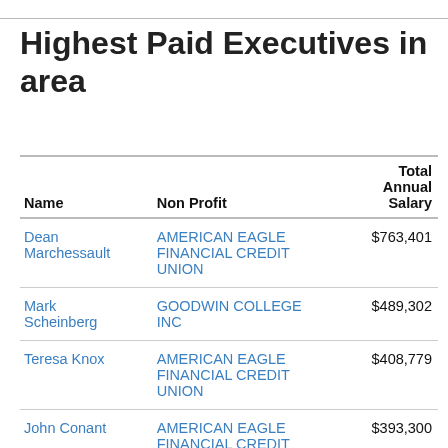Highest Paid Executives in area
| Name | Non Profit | Total Annual Salary |
| --- | --- | --- |
| Dean Marchessault | AMERICAN EAGLE FINANCIAL CREDIT UNION | $763,401 |
| Mark Scheinberg | GOODWIN COLLEGE INC | $489,302 |
| Teresa Knox | AMERICAN EAGLE FINANCIAL CREDIT UNION | $408,779 |
| John Conant | AMERICAN EAGLE FINANCIAL CREDIT UNION | $393,300 |
| Howard Doe | AMERICAN EAGLE | $300,070 |